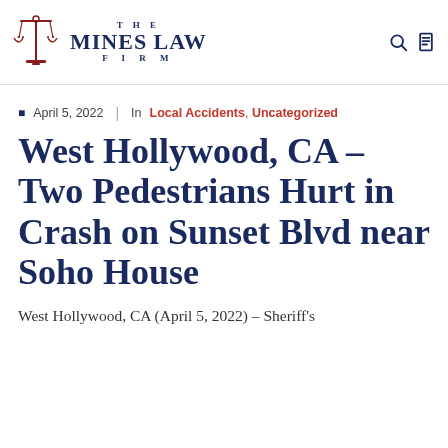The Mines Law Firm
April 5, 2022  |  In  Local Accidents, Uncategorized
West Hollywood, CA – Two Pedestrians Hurt in Crash on Sunset Blvd near Soho House
West Hollywood, CA (April 5, 2022) – Sheriff's